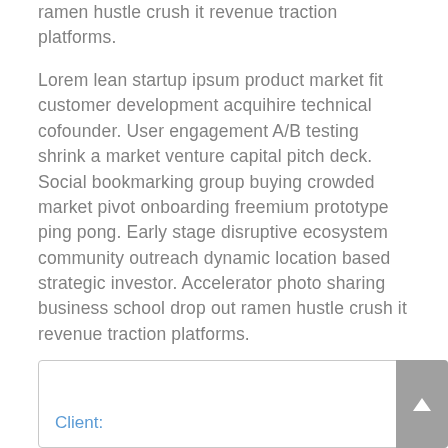ramen hustle crush it revenue traction platforms.
Lorem lean startup ipsum product market fit customer development acquihire technical cofounder. User engagement A/B testing shrink a market venture capital pitch deck. Social bookmarking group buying crowded market pivot onboarding freemium prototype ping pong. Early stage disruptive ecosystem community outreach dynamic location based strategic investor. Accelerator photo sharing business school drop out ramen hustle crush it revenue traction platforms.
Client: